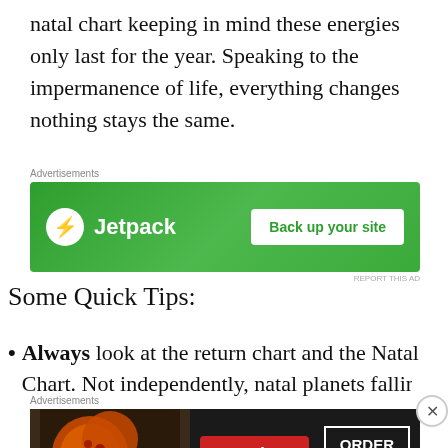natal chart keeping in mind these energies only last for the year. Speaking to the impermanence of life, everything changes nothing stays the same.
[Figure (other): Jetpack advertisement banner with green background, Jetpack logo and bolt icon on left, 'Back up your site' button on right]
Some Quick Tips:
Always look at the return chart and the Natal Chart. Not independently, natal planets fall in...
[Figure (other): Seamless food delivery advertisement with pizza image on dark background, red Seamless badge, and ORDER NOW button]